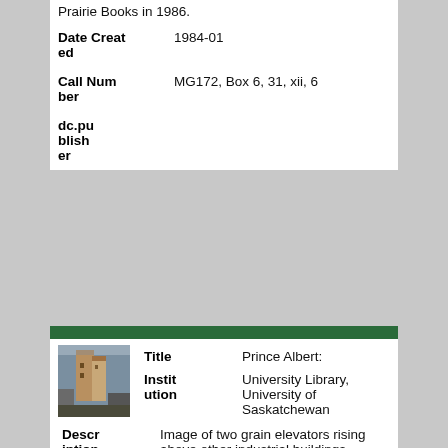Prairie Books in 1986.
| Field | Value |
| --- | --- |
| Date Created | 1984-01 |
| Call Number | MG172, Box 6, 31, xii, 6 |
| dc.publisher |  |
[Figure (photo): Thumbnail photo of grain elevators rising above other industrial buildings in Prince Albert.]
| Field | Value |
| --- | --- |
| Title | Prince Albert: |
| Institution | University Library, University of Saskatchewan |
| Description | Image of two grain elevators rising above other industrial buildings. |